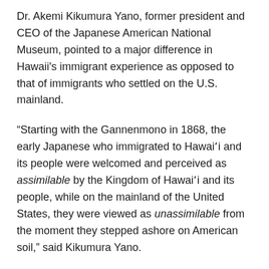Dr. Akemi Kikumura Yano, former president and CEO of the Japanese American National Museum, pointed to a major difference in Hawaii's immigrant experience as opposed to that of immigrants who settled on the U.S. mainland.
“Starting with the Gannenmono in 1868, the early Japanese who immigrated to Hawai‘i and its people were welcomed and perceived as assimilable by the Kingdom of Hawai‘i and its people, while on the mainland of the United States, they were viewed as unassimilable from the moment they stepped ashore on American soil,” said Kikumura Yano.
“However, a common theme that prevailed throughout the centuries, from the Gannenmono to the present, whether in Hawai‘i or on the Mainland, was the commitment to democratize our nation in order to create a more perfect union for ourselves, our children and our nation. Never were the sacrifices greater than during World War II when the Nisei